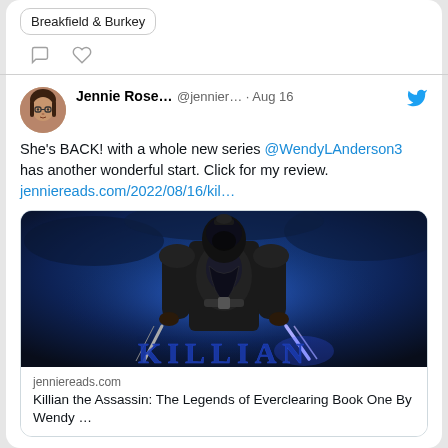Breakfield & Burkey
[Figure (screenshot): Tweet by Jennie Rose (@jennier...) on Aug 16 with Twitter bird icon. Text: She's BACK! with a whole new series @WendyLAnderson3 has another wonderful start. Click for my review. jenniereads.com/2022/08/16/kil... Embedded link card showing a book cover for Killian the Assassin: The Legends of Everclearing Book One By Wendy ...]
She's BACK! with a whole new series @WendyLAnderson3 has another wonderful start. Click for my review. jenniereads.com/2022/08/16/kil...
Killian the Assassin: The Legends of Everclearing Book One By Wendy ...